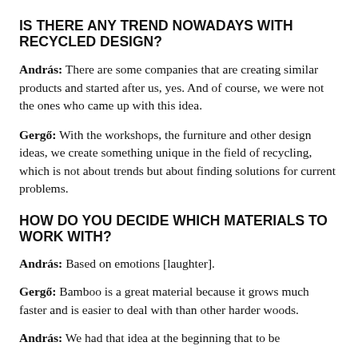IS THERE ANY TREND NOWADAYS WITH RECYCLED DESIGN?
András: There are some companies that are creating similar products and started after us, yes. And of course, we were not the ones who came up with this idea.
Gergő: With the workshops, the furniture and other design ideas, we create something unique in the field of recycling, which is not about trends but about finding solutions for current problems.
HOW DO YOU DECIDE WHICH MATERIALS TO WORK WITH?
András: Based on emotions [laughter].
Gergő: Bamboo is a great material because it grows much faster and is easier to deal with than other harder woods.
András: We had that idea at the beginning that to be